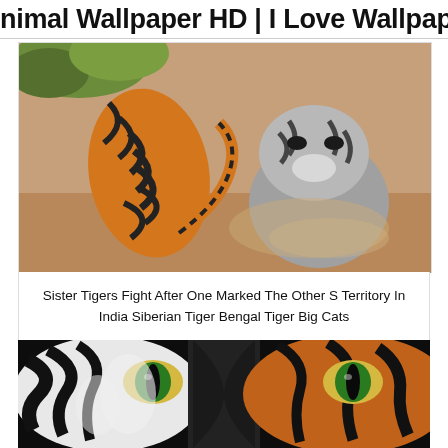Animal Wallpaper HD | I Love Wallpap…
[Figure (photo): Two tigers fighting outdoors on dirt ground, one showing striped back, the other facing with head down in a dusty confrontation]
Sister Tigers Fight After One Marked The Other S Territory In India Siberian Tiger Bengal Tiger Big Cats
[Figure (photo): Extreme close-up of a tiger's face focusing on the eyes, showing detailed fur patterns of black and white stripes with amber/green eyes on dark background]